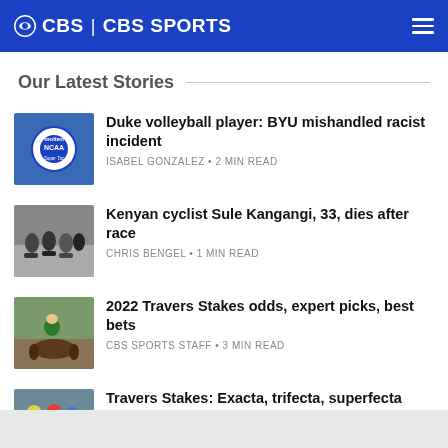CBS | CBS SPORTS
Our Latest Stories
[Figure (photo): NCAA volleyball with molten ball close-up]
Duke volleyball player: BYU mishandled racist incident
ISABEL GONZALEZ • 2 MIN READ
[Figure (photo): Cyclists racing in a pack]
Kenyan cyclist Sule Kangangi, 33, dies after race
CHRIS BENGEL • 1 MIN READ
[Figure (photo): Horse racing jockey in green jersey]
2022 Travers Stakes odds, expert picks, best bets
CBS SPORTS STAFF • 3 MIN READ
[Figure (photo): Horse racing with jockeys in colorful helmets]
Travers Stakes: Exacta, trifecta, superfecta picks